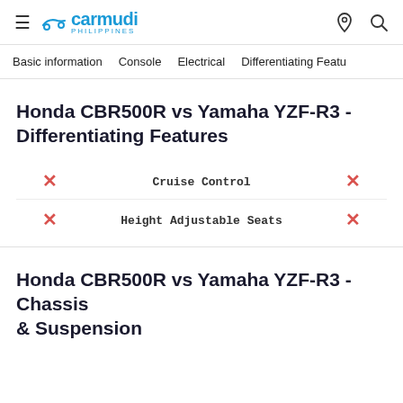carmudi PHILIPPINES
Basic information   Console   Electrical   Differentiating Featu
Honda CBR500R vs Yamaha YZF-R3 - Differentiating Features
| Honda CBR500R | Feature | Yamaha YZF-R3 |
| --- | --- | --- |
| ✗ | Cruise Control | ✗ |
| ✗ | Height Adjustable Seats | ✗ |
Honda CBR500R vs Yamaha YZF-R3 - Chassis & Suspension